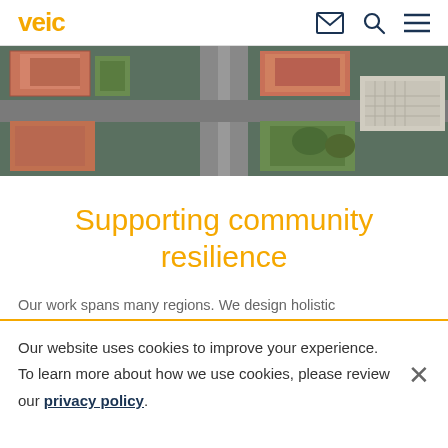veic
[Figure (photo): Aerial view of suburban streets and rooftops with terracotta tiles and a road intersection]
Supporting community resilience
Our work spans many regions. We design holistic
Our website uses cookies to improve your experience. To learn more about how we use cookies, please review our privacy policy.